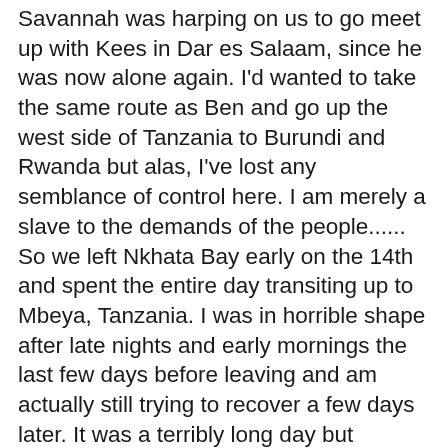Savannah was harping on us to go meet up with Kees in Dar es Salaam, since he was now alone again. I'd wanted to take the same route as Ben and go up the west side of Tanzania to Burundi and Rwanda but alas, I've lost any semblance of control here. I am merely a slave to the demands of the people...... So we left Nkhata Bay early on the 14th and spent the entire day transiting up to Mbeya, Tanzania. I was in horrible shape after late nights and early mornings the last few days before leaving and am actually still trying to recover a few days later. It was a terribly long day but without any specific complaints or hassle. The border was fine and the roads good. The landscape was beautiful and entering Tanzania somehow made the land greener and more suitable for growing tea because we saw lots of it on the hills. It kind of reminded us of India. We'd been warned that Mbeya was full of hassle and scams, particularly at the bus station but we stayed a full day in town to recover and it actually seemed quite pleasant. I don't know where the hassle was supposed to be because we never really saw it. From Mbeya it took us 13 1/2 hrs to get to Dar es Salaam where we were picked up by Kees at the bus station and taken to a beautiful beach resort just north of the city. We now intend to be reunited for the remainder of